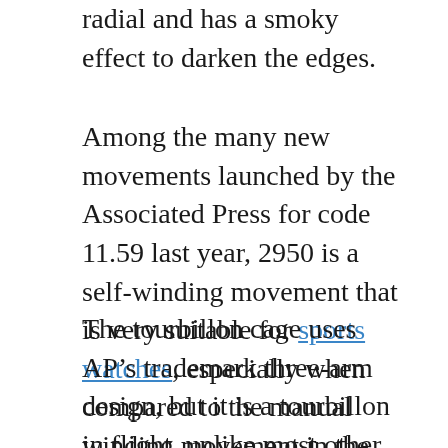radial and has a smoky effect to darken the edges.
Among the many new movements launched by the Associated Press for code 11.59 last year, 2950 is a self-winding movement that is very suitable for sports watches, especially when compared to the manual winding movement in the early Royal Oak tourbillon.
The tourbillon cage uses AP's trademark three-arm design, but it is a tourbillon in flight, unlike most other tourbillon movements of the brand. The reason for being in a "flight state" is that the carriage is only supported underneath, and there is no bridge on the dial. The tourbillon...